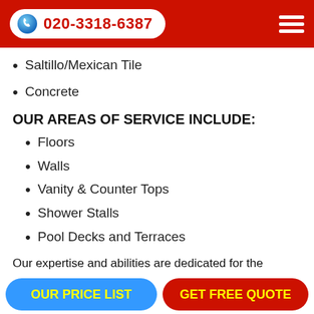020-3318-6387
Saltillo/Mexican Tile
Concrete
OUR AREAS OF SERVICE INCLUDE:
Floors
Walls
Vanity & Counter Tops
Shower Stalls
Pool Decks and Terraces
Our expertise and abilities are dedicated for the cleaning and preservation of stone surfaces. Prolux Patio Cleaning Denmark Hill now is collaborating with the best installation companies in Denmark Hill metropolitan area providing a full
OUR PRICE LIST | GET FREE QUOTE